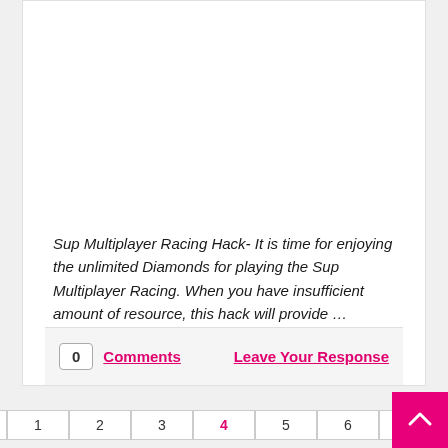Sup Multiplayer Racing Hack- It is time for enjoying the unlimited Diamonds for playing the Sup Multiplayer Racing. When you have insufficient amount of resource, this hack will provide …
0 Comments   Leave Your Response   Previous 1 2 3 4 5 6 7 Next